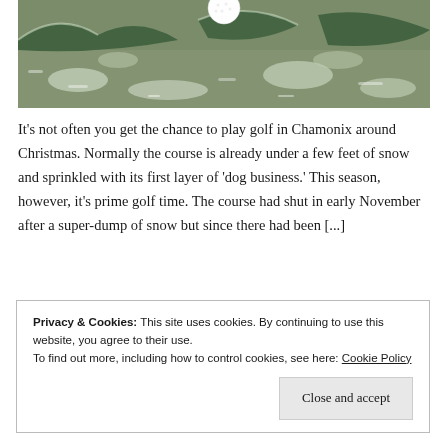[Figure (photo): Close-up photo of a golf ball resting on frost-covered ground with pine/fir branches visible, sprinkled with snow or frost]
It's not often you get the chance to play golf in Chamonix around Christmas. Normally the course is already under a few feet of snow and sprinkled with its first layer of 'dog business.' This season, however, it's prime golf time. The course had shut in early November after a super-dump of snow but since there had been [...]
Privacy & Cookies: This site uses cookies. By continuing to use this website, you agree to their use.
To find out more, including how to control cookies, see here: Cookie Policy
Close and accept